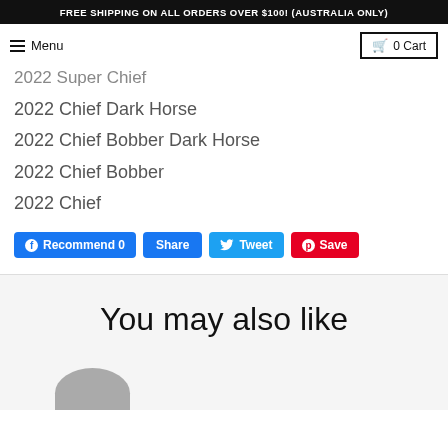FREE SHIPPING ON ALL ORDERS OVER $100! (AUSTRALIA ONLY)
Menu  0 Cart
2022 Super Chief
2022 Chief Dark Horse
2022 Chief Bobber Dark Horse
2022 Chief Bobber
2022 Chief
[Figure (other): Social sharing buttons: Recommend 0 (Facebook), Share, Tweet (Twitter), Save (Pinterest)]
You may also like
[Figure (photo): Partial image of a product, showing top of a dark round object]